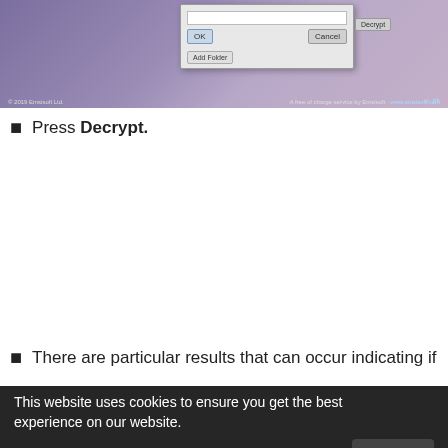[Figure (screenshot): Screenshot of a software dialog box (likely Emsisoft decryption tool) with an input field, OK and Cancel buttons, and an Add Folder button, over a purple gradient background. Footer shows Emsisoft copyright and website.]
Press Decrypt.
There are particular results that can occur indicating if
[Figure (screenshot): Cookie consent overlay banner at bottom of page reading: 'This website uses cookies to ensure you get the best experience on our website.' with a Privacy policy link and an OK button.]